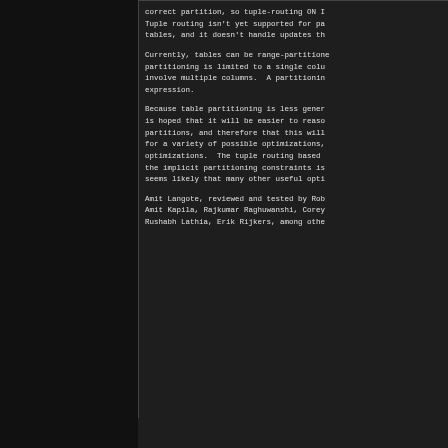correct partition, so tuple-routing ON I Tuple routing isn't yet supported for pa tables, and it doesn't handle updates th  Currently, tables can be range-partitione partitioning is limited to a single colu involve multiple columns.  A partitionin expression.  Because table partitioning is less gener is hoped that it will be easier to reaso partitions, and therefore that this will for a variety of possible optimizations, optimizations.  The tuple routing based the implicit partitioning constraints is seems likely that many other useful opti  Amit Langote, reviewed and tested by Rob Amit Kapila, Rajkumar Raghuwanshi, Corey Rushabh Lathia, Erik Rijkers, among othe